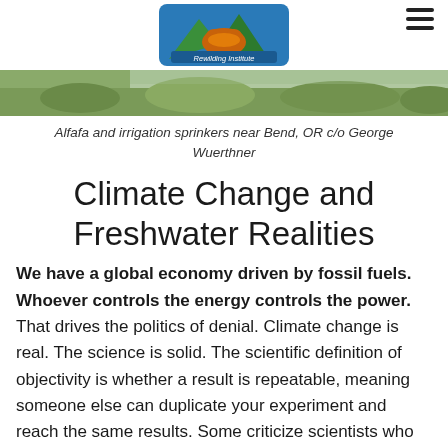Rewilding Institute logo and navigation
[Figure (photo): Landscape photograph showing alfafa and irrigation sprinklers near Bend, OR]
Alfafa and irrigation sprinkers near Bend, OR c/o George Wuerthner
Climate Change and Freshwater Realities
We have a global economy driven by fossil fuels. Whoever controls the energy controls the power. That drives the politics of denial. Climate change is real. The science is solid. The scientific definition of objectivity is whether a result is repeatable, meaning someone else can duplicate your experiment and reach the same results. Some criticize scientists who opine about results, saying